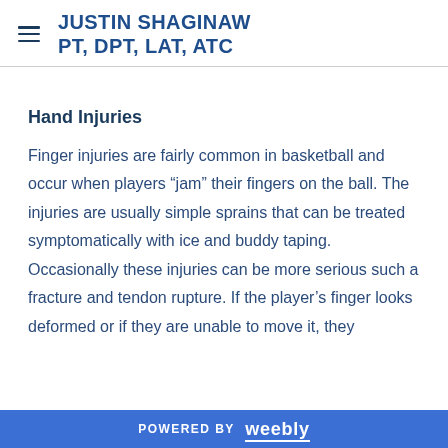JUSTIN SHAGINAW PT, DPT, LAT, ATC
Hand Injuries
Finger injuries are fairly common in basketball and occur when players “jam” their fingers on the ball. The injuries are usually simple sprains that can be treated symptomatically with ice and buddy taping. Occasionally these injuries can be more serious such a fracture and tendon rupture. If the player’s finger looks deformed or if they are unable to move it, they
POWERED BY weebly